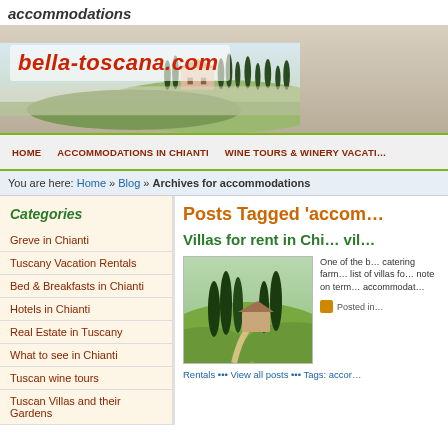accommodations
[Figure (screenshot): bella-toscana.com website banner with Tuscan landscape, cypress trees, and farmhouse]
HOME | ACCOMMODATIONS IN CHIANTI | WINE TOURS & WINERY VACATI...
You are here: Home » Blog » Archives for accommodations
Categories
Greve in Chianti
Tuscany Vacation Rentals
Bed & Breakfasts in Chianti
Hotels in Chianti
Real Estate in Tuscany
What to see in Chianti
Tuscan wine tours
Tuscan Villas and their Gardens
Posts Tagged 'accom...
Villas for rent in Chi... vil...
[Figure (photo): Tuscan countryside with cypress trees, green hills, and a winding road]
One of the b... catering farm... list of villas fo... note on term... accommodat...
Posted in
Rentals ••• View all posts ••• Tags: accor...